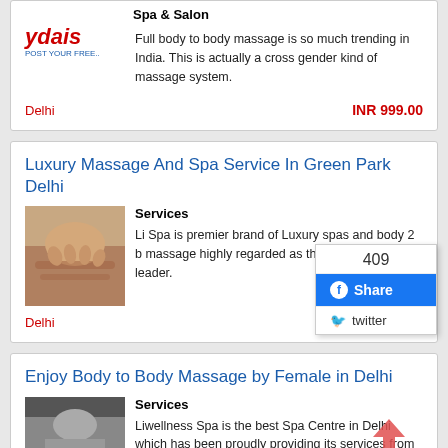Spa & Salon
Full body to body massage is so much trending in India. This is actually a cross gender kind of massage system.
Delhi
INR 999.00
Luxury Massage And Spa Service In Green Park Delhi
Services
Li Spa is premier brand of Luxury spas and body 2 body massage highly regarded as the ultimate industry leader.
Delhi
INR 999.00
Enjoy Body to Body Massage by Female in Delhi
Services
Liwellness Spa is the best Spa Centre in Delhi which has been proudly providing its services from many years in